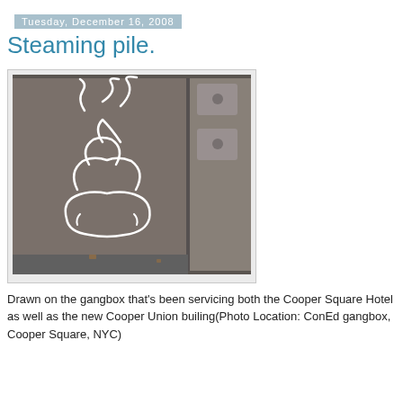Tuesday, December 16, 2008
Steaming pile.
[Figure (photo): Close-up photograph of a metal gangbox (ConEd utility box) with a white graffiti drawing of a steaming pile of feces on its surface. The box has metal hardware/latch visible on the right side.]
Drawn on the gangbox that's been servicing both the Cooper Square Hotel as well as the new Cooper Union builing(Photo Location: ConEd gangbox, Cooper Square, NYC)